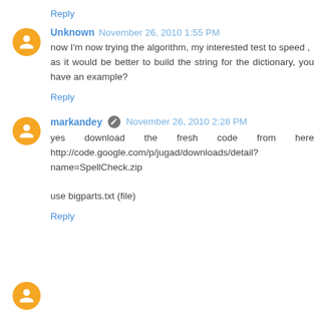Reply
Unknown  November 26, 2010 1:55 PM
now I'm now trying the algorithm, my interested test to speed ,
as it would be better to build the string for the dictionary, you have an example?
Reply
markandey  November 26, 2010 2:28 PM
yes download the fresh code from here http://code.google.com/p/jugad/downloads/detail?name=SpellCheck.zip

use bigparts.txt (file)
Reply